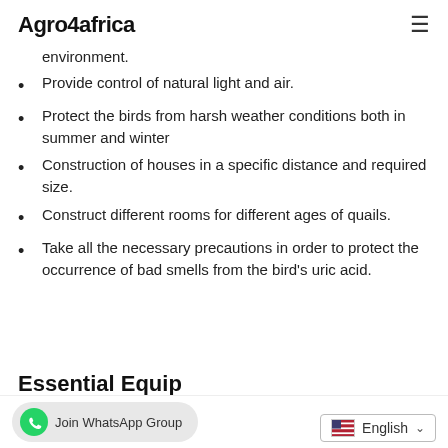Agro4africa
environment.
Provide control of natural light and air.
Protect the birds from harsh weather conditions both in summer and winter
Construction of houses in a specific distance and required size.
Construct different rooms for different ages of quails.
Take all the necessary precautions in order to protect the occurrence of bad smells from the bird's uric acid.
Essential Equip…